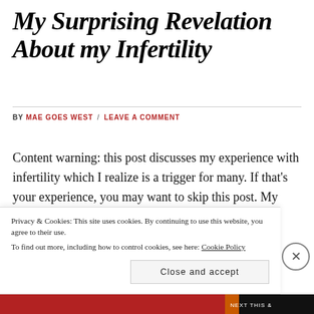My Surprising Revelation About my Infertility
BY MAE GOES WEST / LEAVE A COMMENT
Content warning: this post discusses my experience with infertility which I realize is a trigger for many. If that's your experience, you may want to skip this post. My friends' kiddo, James My total hysterectomy in April means I can never have children. Aft…
Privacy & Cookies: This site uses cookies. By continuing to use this website, you agree to their use.
To find out more, including how to control cookies, see here: Cookie Policy
Close and accept